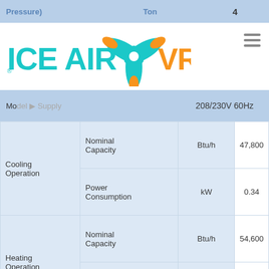Pressure)   Ton   4
[Figure (logo): ICE AIR VRF logo with teal/orange fan blade icon]
|  |  | Unit | 4 |
| --- | --- | --- | --- |
|  | 208/230V 60Hz |  |  |
| Cooling Operation | Nominal Capacity | Btu/h | 47,800 |
| Cooling Operation | Power Consumption | kW | 0.34 |
| Heating Operation | Nominal Capacity | Btu/h | 54,600 |
| Heating Operation | Power Consumption | kW | 0.34 |
| MCA (Minimum Circuit Amposity) |  | A |  |